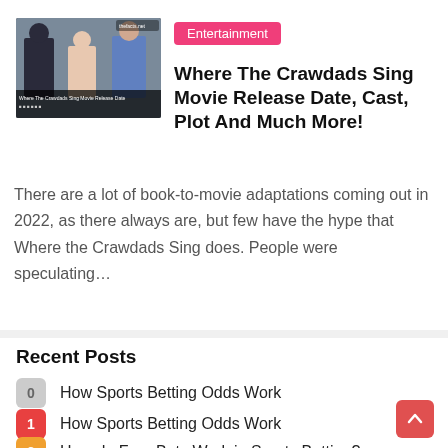[Figure (photo): Thumbnail image of people (movie cast) with caption 'Where The Crawdads Sing Movie Release Date']
Where The Crawdads Sing Movie Release Date, Cast, Plot And Much More!
There are a lot of book-to-movie adaptations coming out in 2022, as there always are, but few have the hype that Where the Crawdads Sing does. People were speculating…
Recent Posts
0 How Sports Betting Odds Work
1 How Sports Betting Odds Work
2 How do Free Bets Work in Sports Betting?
3 NFL Odds and Bet Types: A Comprehensive Guide